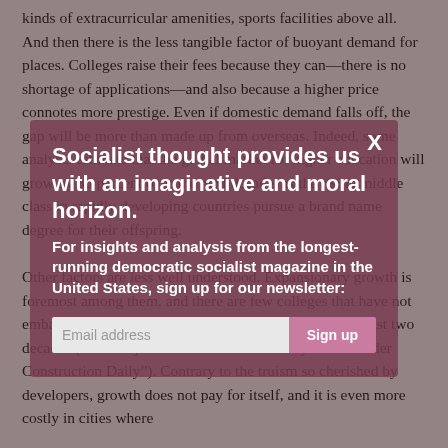kinds of extracurricular amenities, sports facilities above all. And then there is the less tangible factor of buoyant demand for places. Colleges raise their fees because they can—there is no shortage of applications—and also because a higher price connotes more prestige. Even if domestic demand falls off, the gap will be more than made up from overseas. Indeed, some analysts estimate that the global market for higher education will grow by 80 percent over the next decade, as the rising middle class in rapidly developing countries pursue a brand name degree for their offspring.
Other factors are less well understood. Expansionary growth is foremost among them, and there are few colleges that have not embarked on ambitious new building campaigns in the last two decades (students joke that UCD is the acronym for "Under Construction Daily"). Contrary to the truism so cherished by developers, growth does not pay for itself, and it is even more costly in cities where
[Figure (screenshot): Newsletter signup modal overlay with dark reddish-brown tinted background. Modal contains bold white headline 'Socialist thought provides us with an imaginative and moral horizon.' followed by bold white subtext 'For insights and analysis from the longest-running democratic socialist magazine in the United States, sign up for our newsletter:' with an email input field and pink 'Sign up' button. An X close button is in the top right.]